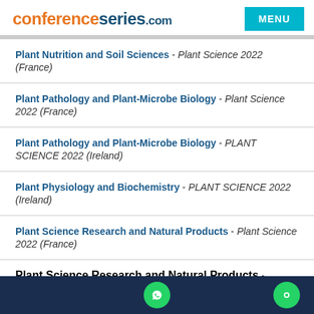conferenceseries.com MENU
Plant Nutrition and Soil Sciences - Plant Science 2022 (France)
Plant Pathology and Plant-Microbe Biology - Plant Science 2022 (France)
Plant Pathology and Plant-Microbe Biology - PLANT SCIENCE 2022 (Ireland)
Plant Physiology and Biochemistry - PLANT SCIENCE 2022 (Ireland)
Plant Science Research and Natural Products - Plant Science 2022 (France)
Plant Science Research and Natural Products - PLANT...